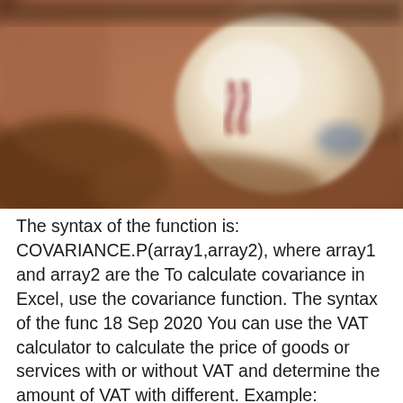[Figure (photo): Close-up blurred photo of a baseball being held in a leather glove, showing the red stitching on the white ball and a blue mark.]
The syntax of the function is: COVARIANCE.P(array1,array2), where array1 and array2 are the To calculate covariance in Excel, use the covariance function. The syntax of the func 18 Sep 2020 You can use the VAT calculator to calculate the price of goods or services with or without VAT and determine the amount of VAT with different. Example: Calculating VAT. Consider the